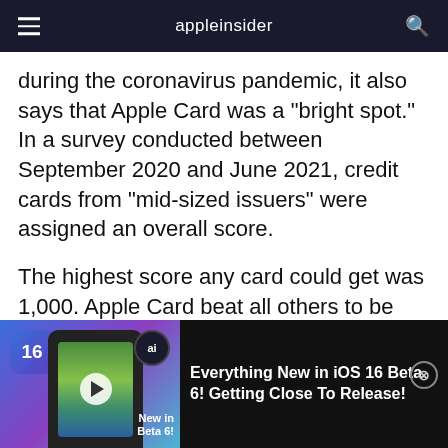appleinsider
during the coronavirus pandemic, it also says that Apple Card was a "bright spot." In a survey conducted between September 2020 and June 2021, credit cards from "mid-sized issuers" were assigned an overall score.
The highest score any card could get was 1,000. Apple Card beat all others to be marked at 864. The collaboration between Apple and Goldman Sachs ranked highest across all categories, from
[Figure (screenshot): Advertisement banner for 'Everything New in iOS 16 Beta 6! Getting Close To Release!' video with iOS 16 badge, phone thumbnail showing colorful screen with play button, and close button.]